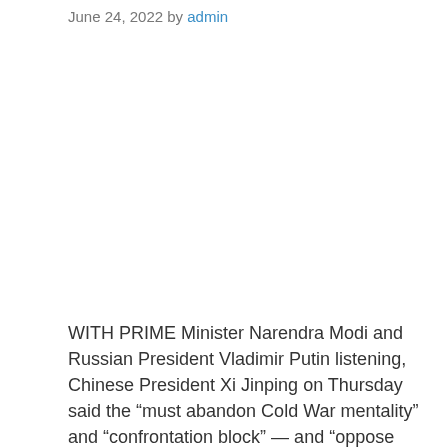June 24, 2022 by admin
WITH PRIME Minister Narendra Modi and Russian President Vladimir Putin listening, Chinese President Xi Jinping on Thursday said the “must abandon Cold War mentality” and “confrontation block” — and “oppose unilateral sanctions and abuse of sanctions”